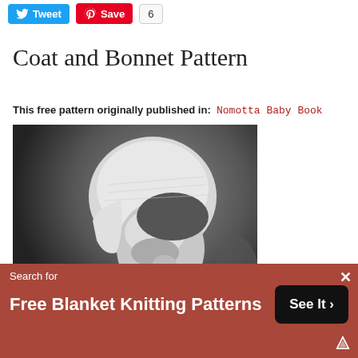[Figure (other): Twitter Tweet button (blue) and Pinterest Save button (red) with count badge showing 6]
Coat and Bonnet Pattern
This free pattern originally published in:  Nomotta Baby Book
[Figure (photo): Black and white photograph of a young child wearing a knitted bonnet and coat with buttons]
Search for
Free Blanket Knitting Patterns
See It >